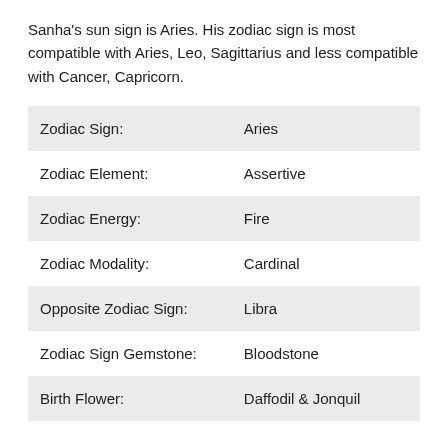Sanha's sun sign is Aries. His zodiac sign is most compatible with Aries, Leo, Sagittarius and less compatible with Cancer, Capricorn.
|  |  |
| --- | --- |
| Zodiac Sign: | Aries |
| Zodiac Element: | Assertive |
| Zodiac Energy: | Fire |
| Zodiac Modality: | Cardinal |
| Opposite Zodiac Sign: | Libra |
| Zodiac Sign Gemstone: | Bloodstone |
| Birth Flower: | Daffodil & Jonquil |